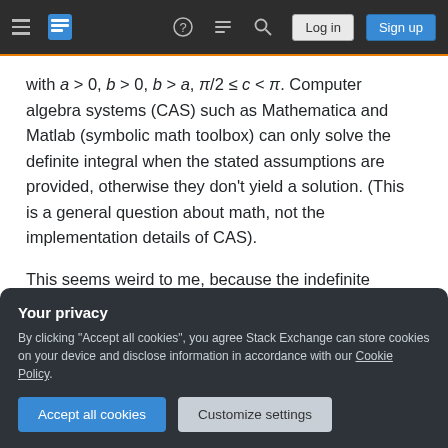Stack Exchange navigation bar with hamburger menu, logo, help, chat, search icons, Log in and Sign up buttons
with a > 0, b > 0, b > a, π/2 ≤ c < π. Computer algebra systems (CAS) such as Mathematica and Matlab (symbolic math toolbox) can only solve the definite integral when the stated assumptions are provided, otherwise they don't yield a solution. (This is a general question about math, not the implementation details of CAS).
This seems weird to me, because the indefinite integral calculates to
Your privacy
By clicking "Accept all cookies", you agree Stack Exchange can store cookies on your device and disclose information in accordance with our Cookie Policy.
Accept all cookies   Customize settings